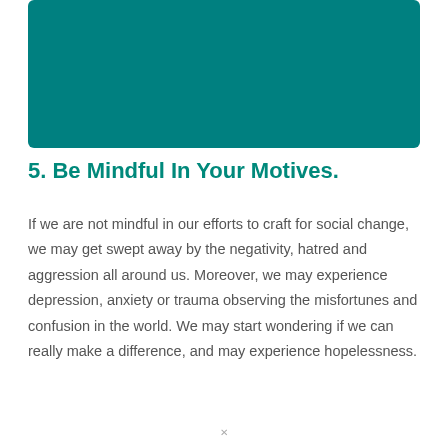[Figure (other): Teal/dark cyan colored rectangular image block at the top of the page]
5. Be Mindful In Your Motives.
If we are not mindful in our efforts to craft for social change, we may get swept away by the negativity, hatred and aggression all around us. Moreover, we may experience depression, anxiety or trauma observing the misfortunes and confusion in the world. We may start wondering if we can really make a difference, and may experience hopelessness.